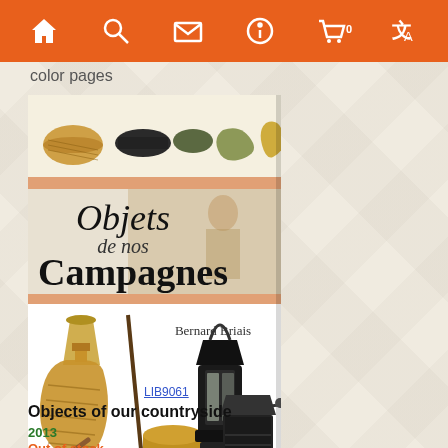Navigation bar with home, search, mail, info, cart (0), and translate icons
color pages
[Figure (photo): Book cover of 'Objets de nos Campagnes' by Bernard Briais, showing rural/countryside objects including baskets, a lantern, a coffee grinder, and a sepia photo of a woman. Published by Autre Edition.]
LIB9061
Objects of our countryside
2013
Out of stock